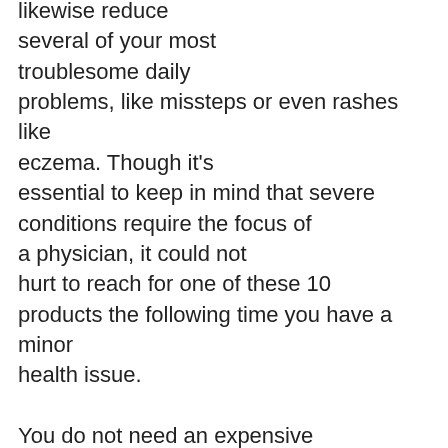likewise reduce several of your most troublesome daily problems, like missteps or even rashes like eczema. Though it's essential to keep in mind that severe conditions require the focus of a physician, it could not hurt to reach for one of these 10 products the following time you have a minor health issue.

You do not need an expensive skin care product to deal with harsh spots on your knees, elbow joints, as well as heels. A sea salt scrub made at residence will certainly work just. “Sea salt is an excellent